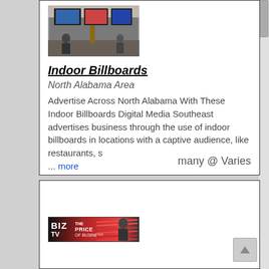[Figure (photo): Indoor billboard display in a venue]
Indoor Billboards
North Alabama Area
Advertise Across North Alabama With These Indoor Billboards Digital Media Southeast advertises business through the use of indoor billboards in locations with a captive audience, like restaurants, s ... more
many @ Varies
[Figure (photo): BIZ TV The Price of Business banner image]